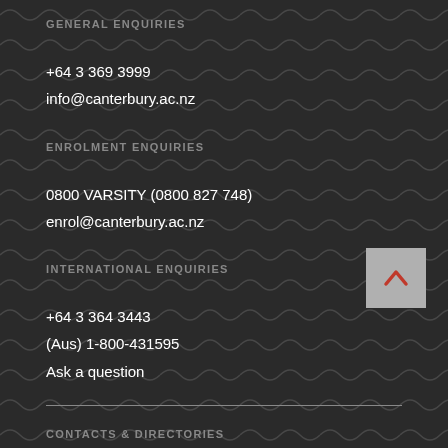GENERAL ENQUIRIES
+64 3 369 3999
info@canterbury.ac.nz
ENROLMENT ENQUIRIES
0800 VARSITY (0800 827 748)
enrol@canterbury.ac.nz
INTERNATIONAL ENQUIRIES
+64 3 364 3443
(Aus) 1-800-431595
Ask a question
CONTACTS & DIRECTORIES